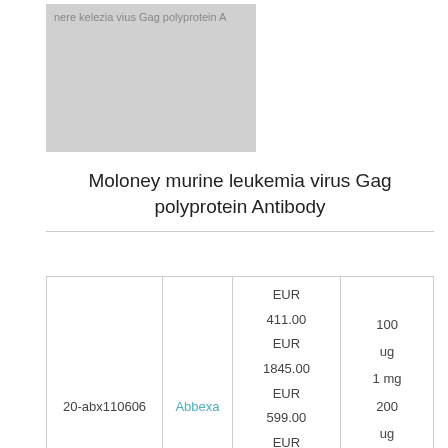[Figure (photo): Product image placeholder for Moloney murine leukemia virus Gag polyprotein Antibody, shown as a grey rectangle with text label]
Moloney murine leukemia virus Gag polyprotein Antibody
|  | Supplier | Price | Size |
| --- | --- | --- | --- |
| 20-abx110606 | Abbexa | EUR 411.00
EUR 1845.00
EUR 599.00
EUR 182.00
EUR 300.00 | 100 ug
1 mg
200 ug
20 ug
50 ug |
|  |  |  |  |